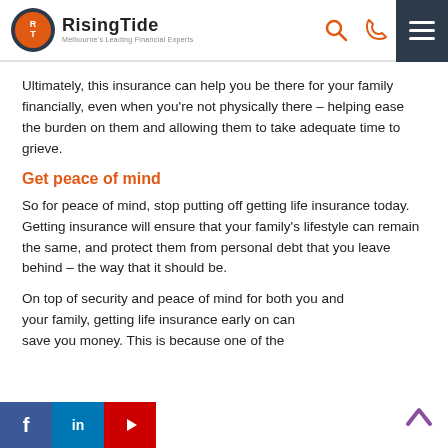RisingTide — Melbourne's Leading Financial Experts
Ultimately, this insurance can help you be there for your family financially, even when you’re not physically there – helping ease the burden on them and allowing them to take adequate time to grieve.
Get peace of mind
So for peace of mind, stop putting off getting life insurance today. Getting insurance will ensure that your family’s lifestyle can remain the same, and protect them from personal debt that you leave behind – the way that it should be.
On top of security and peace of mind for both you and your family, getting life insurance early on can save you money. This is because one of the